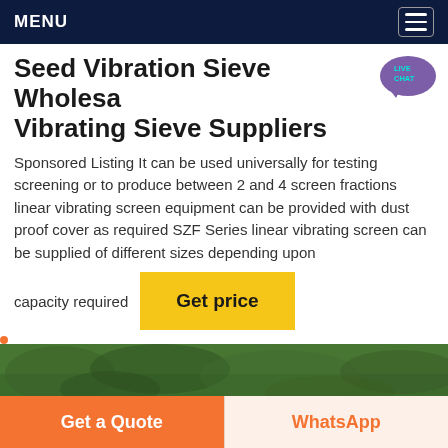MENU
Seed Vibration Sieve Wholesale Vibrating Sieve Suppliers
Sponsored Listing It can be used universally for testing screening or to produce between 2 and 4 screen fractions linear vibrating screen equipment can be provided with dust proof cover as required SZF Series linear vibrating screen can be supplied of different sizes depending upon capacity required
[Figure (screenshot): Yellow 'Get price' button]
[Figure (photo): Green foliage/trees viewed from above]
Get a Quote
WhatsApp